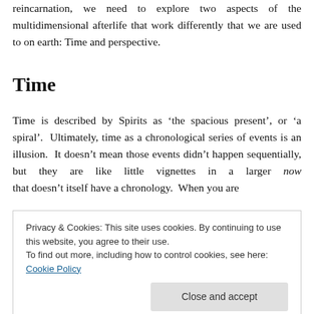reincarnation, we need to explore two aspects of the multidimensional afterlife that work differently that we are used to on earth: Time and perspective.
Time
Time is described by Spirits as ‘the spacious present’, or ‘a spiral’.  Ultimately, time as a chronological series of events is an illusion.  It doesn’t mean those events didn’t happen sequentially, but they are like little vignettes in a larger now that doesn’t itself have a chronology.  When you are
Privacy & Cookies: This site uses cookies. By continuing to use this website, you agree to their use.
To find out more, including how to control cookies, see here: Cookie Policy
in their made-up story life has nothing to do with the time